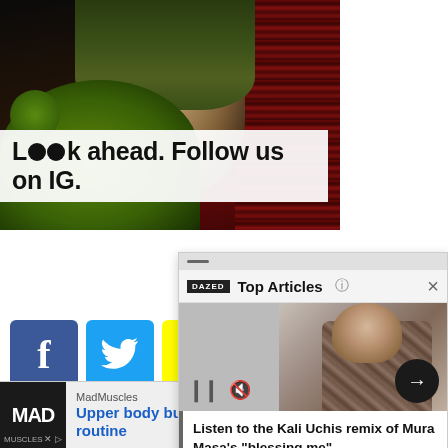[Figure (photo): Photo of a young woman with dark hair holding a green stuffed bear, with red Gucci-patterned curtain in background, overlaid with white banner text 'L👀k ahead. Follow us on IG.']
[Figure (screenshot): Top Articles popup overlay showing a person in a patterned jacket, with Dazed branding, playback controls, and article title 'Listen to the Kali Uchis remix of Mura Masa's blessing me']
[Figure (infographic): Social media buttons: Facebook (blue f), Twitter (blue bird), Snapchat (yellow ghost)]
HIP-HOP, LIL YACHTY
[Figure (infographic): Ad banner for MadMuscles: 'Upper body bulking routine' with Open button]